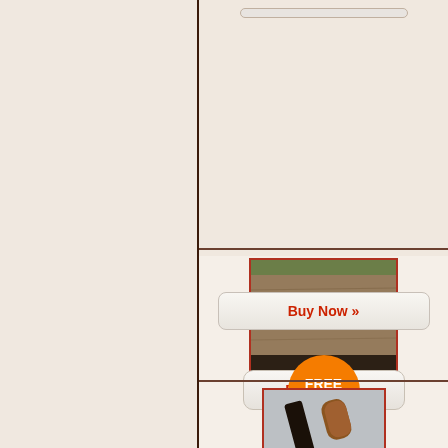[Figure (other): Left panel - blank cream/off-white background panel]
[Figure (photo): Photo of a wood chisel with wooden handle lying on a wooden surface, shown with a red border]
[Figure (other): Buy Now button with orange/red text on light background]
[Figure (other): Orange circular FREE shipping badge]
[Figure (photo): Partial photo of a dark tool (chisel or gouge) with wooden handle against gray background, shown with red border]